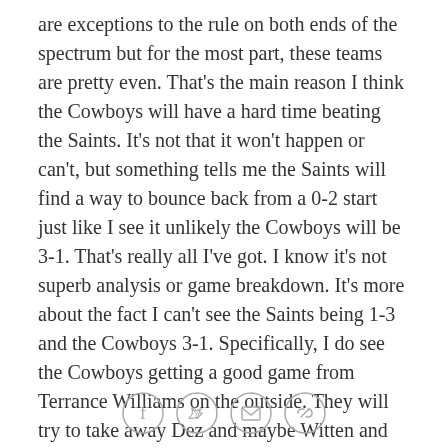are exceptions to the rule on both ends of the spectrum but for the most part, these teams are pretty even. That's the main reason I think the Cowboys will have a hard time beating the Saints. It's not that it won't happen or can't, but something tells me the Saints will find a way to bounce back from a 0-2 start just like I see it unlikely the Cowboys will be 3-1. That's really all I've got. I know it's not superb analysis or game breakdown. It's more about the fact I can't see the Saints being 1-3 and the Cowboys 3-1. Specifically, I do see the Cowboys getting a good game from Terrance Williams on the outside. They will try to take away Dez and maybe Witten and Williams will have a big day. As much as I'd like to see Claiborne bounce back from a tough week with a big game, I see multiple pass interference penalties from him. I think Jimmy Graham
[Figure (other): Social sharing icons row: Facebook, Twitter, Email, Link]